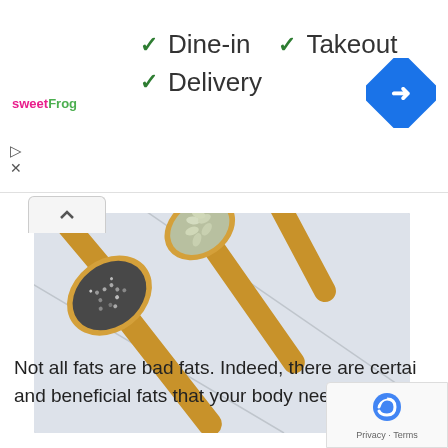[Figure (screenshot): Ad banner for sweetFrog with dine-in, takeout, delivery options and Google Maps navigation icon]
[Figure (photo): Four wooden spoons holding various seeds and nuts (chia seeds, sunflower seeds, almonds, flax seeds) on a white background]
Not all fats are bad fats. Indeed, there are certain and beneficial fats that your body needs.